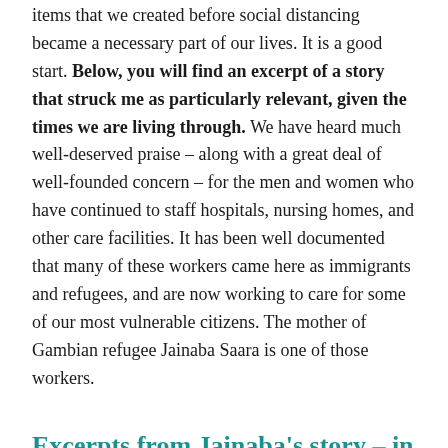items that we created before social distancing became a necessary part of our lives. It is a good start. Below, you will find an excerpt of a story that struck me as particularly relevant, given the times we are living through. We have heard much well-deserved praise – along with a great deal of well-founded concern – for the men and women who have continued to staff hospitals, nursing homes, and other care facilities. It has been well documented that many of these workers came here as immigrants and refugees, and are now working to care for some of our most vulnerable citizens. The mother of Gambian refugee Jainaba Saara is one of those workers.
Excerpts from Jainaba's story – in her own words.